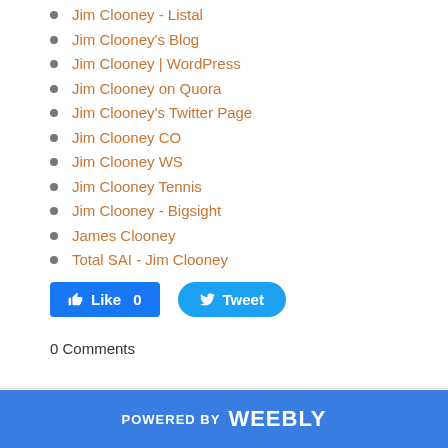Jim Clooney - Listal
Jim Clooney's Blog
Jim Clooney | WordPress
Jim Clooney on Quora
Jim Clooney's Twitter Page
Jim Clooney CO
Jim Clooney WS
Jim Clooney Tennis
Jim Clooney - Bigsight
James Clooney
Total SAI - Jim Clooney
0 Comments
POWERED BY weebly